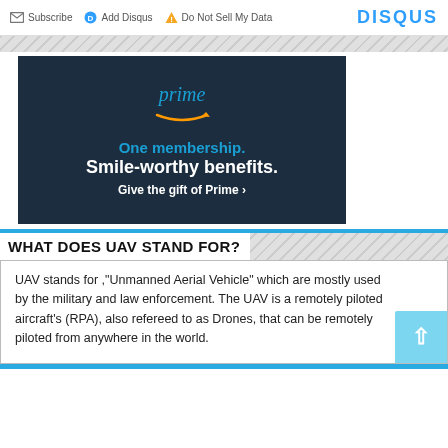Subscribe  Add Disqus  Do Not Sell My Data  DISQUS
[Figure (screenshot): Amazon Prime advertisement: dark navy background with 'prime' text and Amazon arrow logo, 'One membership. Smile-worthy benefits. Give the gift of Prime ›']
WHAT DOES UAV STAND FOR?
UAV stands for ,"Unmanned Aerial Vehicle" which are mostly used by the military and law enforcement. The UAV is a remotely piloted aircraft's (RPA), also refereed to as Drones, that can be remotely piloted from anywhere in the world.